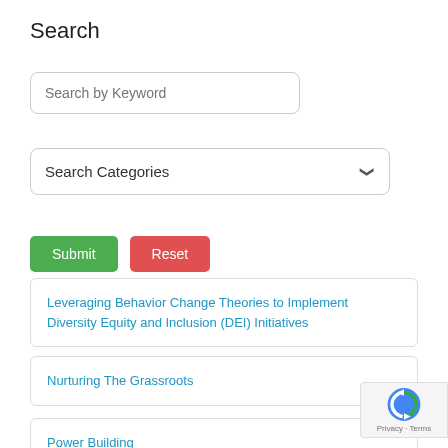Search
Search by Keyword
Search Categories
Submit
Reset
Leveraging Behavior Change Theories to Implement Diversity Equity and Inclusion (DEI) Initiatives
Nurturing The Grassroots
Power Building